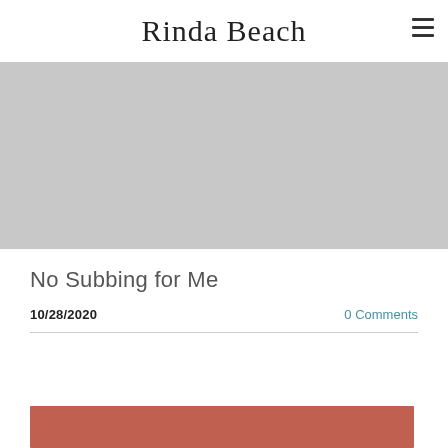Rinda Beach
[Figure (photo): Large gray placeholder hero image banner below the site header]
No Subbing for Me
10/28/2020
0 Comments
[Figure (photo): Partial thumbnail image strip showing colorful/warm-toned photo at bottom of page]